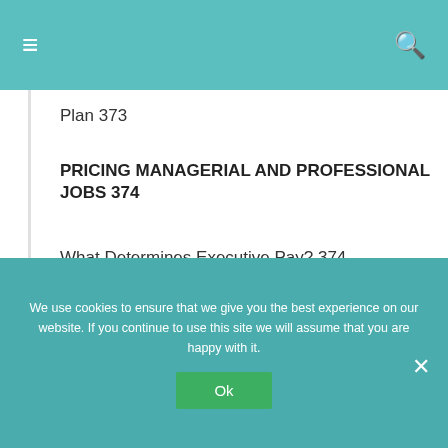≡  [search icon]
Plan 373
PRICING MANAGERIAL AND PROFESSIONAL JOBS 374
What Determines Executive Pay? 374
Compensating Executives 375
Compensating Professional Employees
We use cookies to ensure that we give you the best experience on our website. If you continue to use this site we will assume that you are happy with it.
Ok